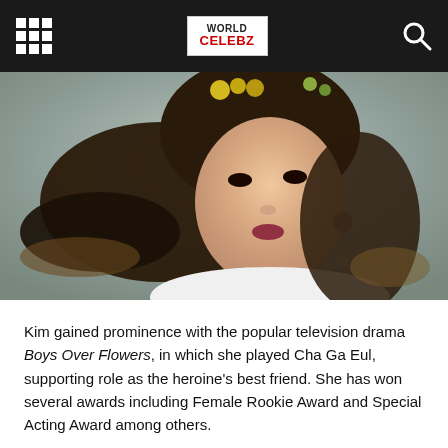World Celebz navigation bar
[Figure (photo): Portrait photo of Kim (actress), a young Korean woman with long dark hair adorned with yellow and green flowers/leaves, wearing dangling earrings and a white outfit, looking upward against a muted teal/grey background.]
Kim gained prominence with the popular television drama Boys Over Flowers, in which she played Cha Ga Eul, supporting role as the heroine's best friend. She has won several awards including Female Rookie Award and Special Acting Award among others.
8. Kim Ji Won